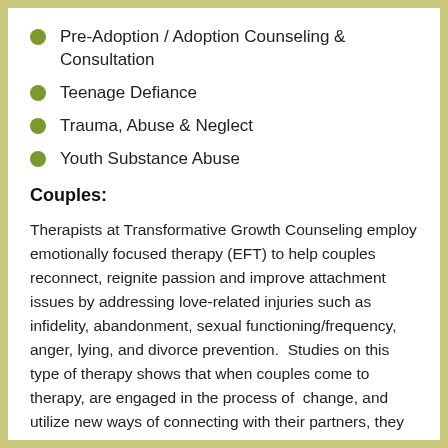Pre-Adoption / Adoption Counseling & Consultation
Teenage Defiance
Trauma, Abuse & Neglect
Youth Substance Abuse
Couples:
Therapists at Transformative Growth Counseling employ emotionally focused therapy (EFT) to help couples reconnect, reignite passion and improve attachment issues by addressing love-related injuries such as infidelity, abandonment, sexual functioning/frequency, anger, lying, and divorce prevention.  Studies on this type of therapy shows that when couples come to therapy, are engaged in the process of  change, and utilize new ways of connecting with their partners, they have a 90% success rate of repairing and improving their relationship.
(partial text cut off at bottom)